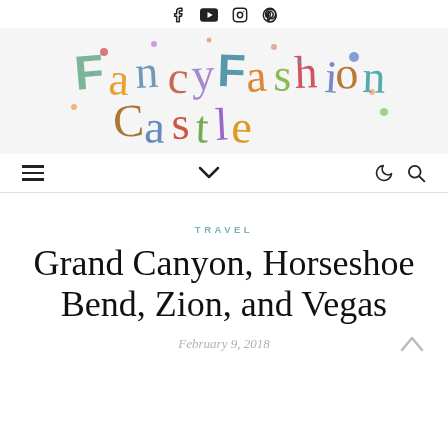Social icons: Facebook, YouTube, Instagram, Pinterest
[Figure (logo): FancyFashionCastle decorative logo with colorful illustrated lettering on light gray background]
Navigation bar with hamburger menu, chevron dropdown, moon icon, search icon
TRAVEL
Grand Canyon, Horseshoe Bend, Zion, and Vegas
February 9, 2018